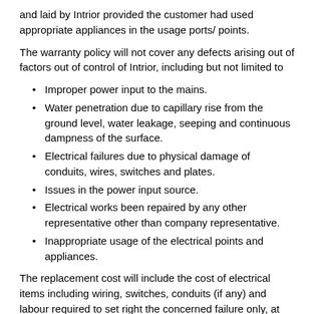and laid by Intrior provided the customer had used appropriate appliances in the usage ports/ points.
The warranty policy will not cover any defects arising out of factors out of control of Intrior, including but not limited to
Improper power input to the mains.
Water penetration due to capillary rise from the ground level, water leakage, seeping and continuous dampness of the surface.
Electrical failures due to physical damage of conduits, wires, switches and plates.
Issues in the power input source.
Electrical works been repaired by any other representative other than company representative.
Inappropriate usage of the electrical points and appliances.
The replacement cost will include the cost of electrical items including wiring, switches, conduits (if any) and labour required to set right the concerned failure only, at the time of lodgement of claim.
Painting Services